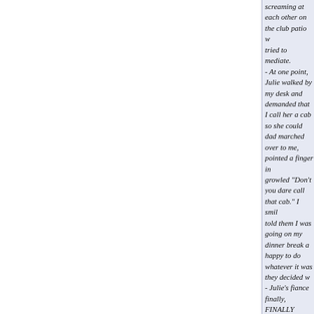screaming at each other on the club patio w... tried to mediate. - At one point, Julie walked by my desk and demanded that I call her a cab so she could... dad marched over to me, pointed a finger in... growled "Don't you dare call that cab." I smil... told them I was going on my dinner break a... happy to do whatever it was they decided w... - Julie's fiance finally, FINALLY signed the lic... hours of screaming, but not before the best m... tried to punch the minister because the minis... "minding his own business." The minister qu... - One guest brought an escort. An actual bo... I know she was an escort because she wore... taffeta minidress with a sequined halter bodi... 50 years old and incredibly haggard looking,... date (decked out in his finest Don Johnson "... gear) "what do you do for a living, honey?" T... - One poor old woman started choking on th... at the reception. The heimlich worked, but I s... 911. The paramedics pretty much broke up t... bride left in tears. I LOVE bad weddings!
That story is hysterical!- thanks for cheering me u... wedding didnt look like any of these stories lol.
If I had one wish   Delta   Delta   Delta ...